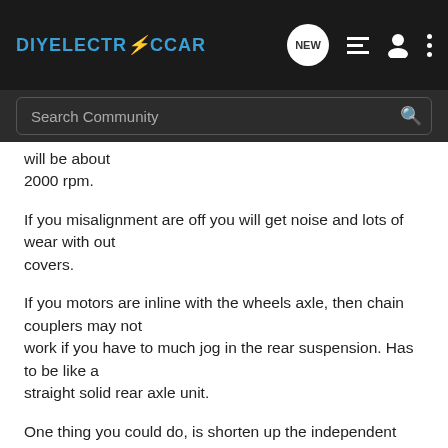DIYELECTRiCCAR
will be about 2000 rpm.
If you misalignment are off you will get noise and lots of wear with out covers.
If you motors are inline with the wheels axle, then chain couplers may not work if you have to much jog in the rear suspension. Has to be like a straight solid rear axle unit.
One thing you could do, is shorten up the independent axles which have joints for this amount jog. Adopt a spline yoke that will go over a